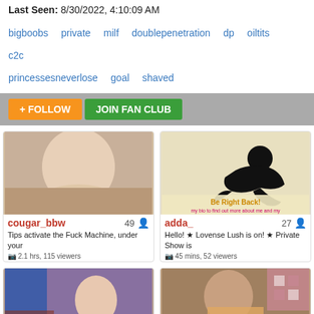Last Seen: 8/30/2022, 4:10:09 AM
bigboobs  private  milf  doublepenetration  dp  oiltits  c2c  princessesneverlose  goal  shaved
+ FOLLOW   JOIN FAN CLUB
[Figure (photo): Thumbnail image of cougar_bbw]
cougar_bbw  49  Tips activate the Fuck Machine, under your  2.1 hrs, 115 viewers
[Figure (photo): Thumbnail image of adda_ with Be Right Back graphic]
adda_  27  Hello! ★ Lovense Lush is on! ★ Private Show is  45 mins, 52 viewers
[Figure (photo): Thumbnail image of moonlight4u]
moonlight4u  37  welcome to my cosy room
[Figure (photo): Thumbnail image of xclusivesecrets]
xclusivesecrets  99  'CrazyGoalz' Auto-Reset